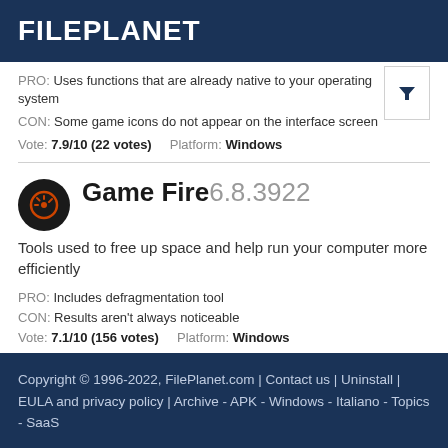FILEPLANET
PRO: Uses functions that are already native to your operating system
CON: Some game icons do not appear on the interface screen
Vote: 7.9/10 (22 votes)   Platform: Windows
Game Fire 6.8.3922
Tools used to free up space and help run your computer more efficiently
PRO: Includes defragmentation tool
CON: Results aren't always noticeable
Vote: 7.1/10 (156 votes)   Platform: Windows
Copyright © 1996-2022, FilePlanet.com | Contact us | Uninstall | EULA and privacy policy | Archive - APK - Windows - Italiano - Topics - SaaS